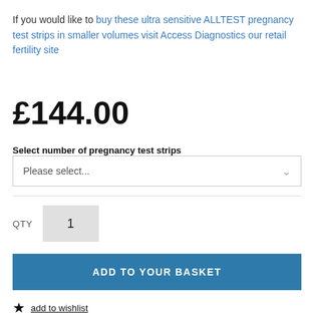If you would like to buy these ultra sensitive ALLTEST pregnancy test strips in smaller volumes visit Access Diagnostics our retail fertility site
£144.00
Select number of pregnancy test strips
Please select...
QTY  1
ADD TO YOUR BASKET
add to wishlist